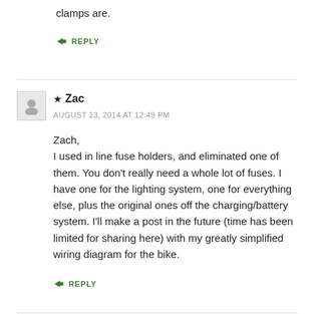clamps are.
↳ REPLY
★ Zac
AUGUST 13, 2014 AT 12:49 PM
Zach,
I used in line fuse holders, and eliminated one of them. You don't really need a whole lot of fuses. I have one for the lighting system, one for everything else, plus the original ones off the charging/battery system. I'll make a post in the future (time has been limited for sharing here) with my greatly simplified wiring diagram for the bike.
↳ REPLY